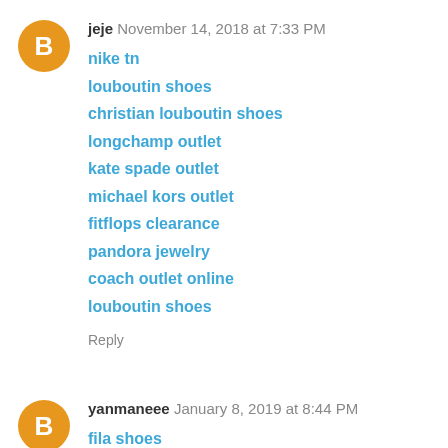jeje  November 14, 2018 at 7:33 PM
nike tn
louboutin shoes
christian louboutin shoes
longchamp outlet
kate spade outlet
michael kors outlet
fitflops clearance
pandora jewelry
coach outlet online
louboutin shoes
Reply
yanmaneee  January 8, 2019 at 8:44 PM
fila shoes
nike shoes
lacoste outlet
moncler jackets